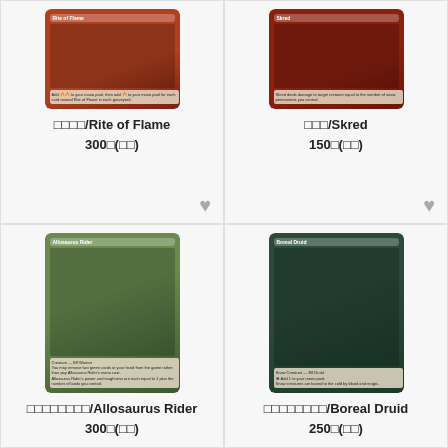[Figure (illustration): Magic: The Gathering card - Rite of Flame]
□□□□/Rite of Flame
300□(□□)
[Figure (illustration): Magic: The Gathering card - Skred]
□□□/Skred
150□(□□)
[Figure (illustration): Magic: The Gathering card - Allosaurus Rider]
□□□□□□□□/Allosaurus Rider
300□(□□)
[Figure (illustration): Magic: The Gathering card - Boreal Druid]
□□□□□□□□/Boreal Druid
250□(□□)